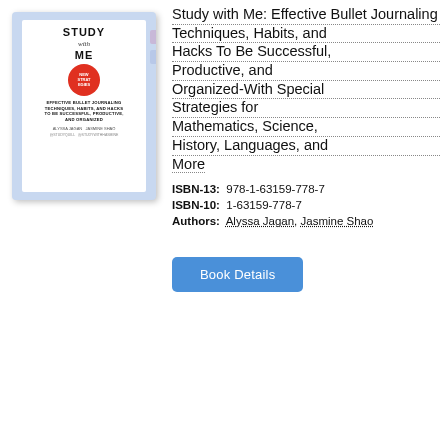[Figure (illustration): Book cover of 'Study with Me: Effective Bullet Journaling Techniques, Habits, and Hacks To Be Successful, Productive, and Organized'. Cover shows a light blue background with a white notebook, the title in bold black text, a red circular badge, subtitle text, and author names Alyssa Jagan and Jasmine Shao.]
Study with Me: Effective Bullet Journaling Techniques, Habits, and Hacks To Be Successful, Productive, and Organized-With Special Strategies for Mathematics, Science, History, Languages, and More
ISBN-13: 978-1-63159-778-7
ISBN-10: 1-63159-778-7
Authors: Alyssa Jagan, Jasmine Shao